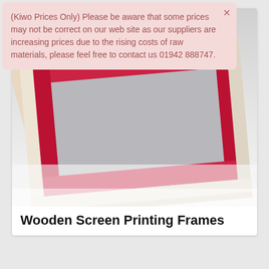(Kiwo Prices Only) Please be aware that some prices may not be correct on our web site as our suppliers are increasing prices due to the rising costs of raw materials, please feel free to contact us 01942 888747.
[Figure (photo): Photo of multiple wooden screen printing frames stacked and overlapping, with red-painted inner edges and natural wood outer edges, on a white background.]
Wooden Screen Printing Frames